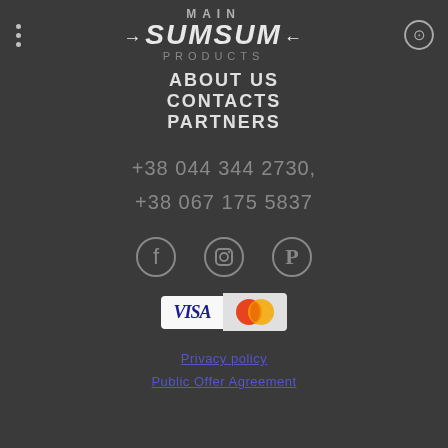MAIN SUMSUM PRODUCTS
ABOUT US
CONTACTS
PARTNERS
+38 044 344 2730,
+38 067 175 5837
[Figure (other): Social media icons: Facebook, Instagram, Pinterest]
[Figure (other): Payment icons: VISA and MasterCard]
Privacy policy
Public Offer Agreement